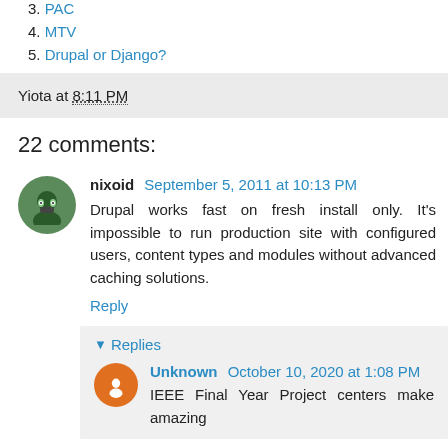3. PAC
4. MTV
5. Drupal or Django?
Yiota at 8:11 PM
22 comments:
nixoid  September 5, 2011 at 10:13 PM
Drupal works fast on fresh install only. It's impossible to run production site with configured users, content types and modules without advanced caching solutions.
Reply
▼ Replies
Unknown  October 10, 2020 at 1:08 PM
IEEE Final Year Project centers make amazing